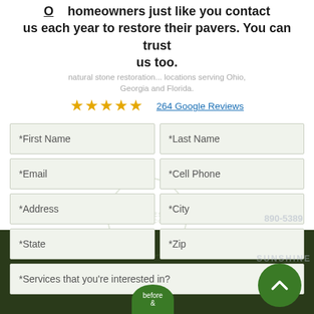homeowners just like you contact us each year to restore their pavers. You can trust us too.
natural stone restoration... locations serving Ohio, Georgia and Florida.
[Figure (other): Five gold star rating icons]
264 Google Reviews
*First Name
*Last Name
*Email
*Cell Phone
*Address
*City
*State
*Zip
*Services that you're interested in?